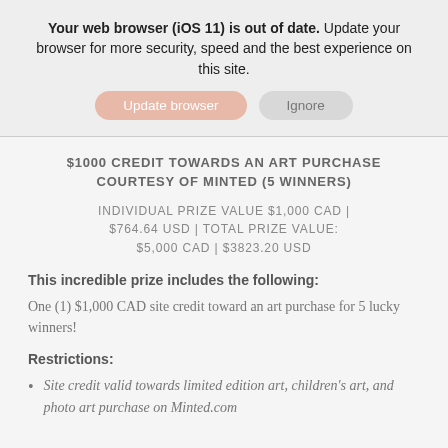Your web browser (iOS 11) is out of date. Update your browser for more security, speed and the best experience on this site.
$1000 CREDIT TOWARDS AN ART PURCHASE COURTESY OF MINTED (5 WINNERS)
INDIVIDUAL PRIZE VALUE $1,000 CAD | $764.64 USD | TOTAL PRIZE VALUE: $5,000 CAD | $3823.20 USD
This incredible prize includes the following:
One (1) $1,000 CAD site credit toward an art purchase for 5 lucky winners!
Restrictions:
Site credit valid towards limited edition art, children's art, and photo art purchase on Minted.com